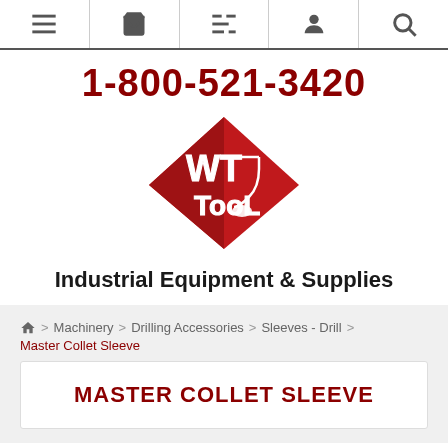[Figure (screenshot): Navigation bar with icons: hamburger menu, shopping basket, list/filter, user account, and search]
1-800-521-3420
[Figure (logo): WT Tool logo - red diamond shape with white WT Tool text and a tool/flask graphic]
Industrial Equipment & Supplies
Home > Machinery > Drilling Accessories > Sleeves - Drill > Master Collet Sleeve
MASTER COLLET SLEEVE